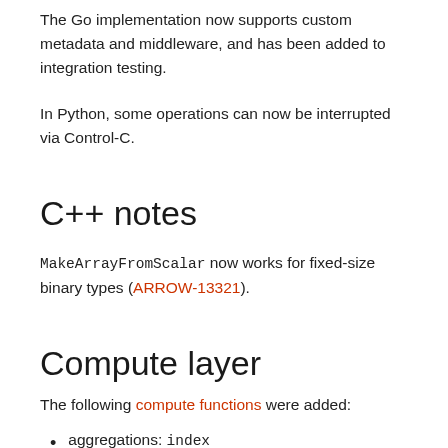The Go implementation now supports custom metadata and middleware, and has been added to integration testing.
In Python, some operations can now be interrupted via Control-C.
C++ notes
MakeArrayFromScalar now works for fixed-size binary types (ARROW-13321).
Compute layer
The following compute functions were added:
aggregations: index